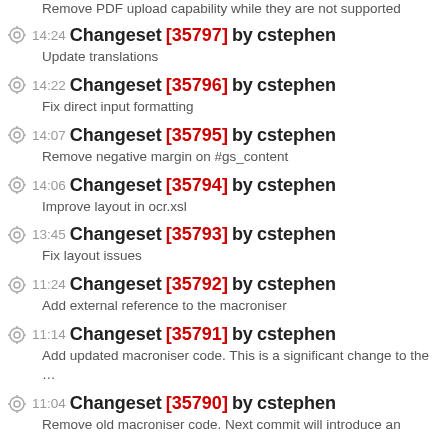Remove PDF upload capability while they are not supported
14:24 Changeset [35797] by cstephen
Update translations
14:22 Changeset [35796] by cstephen
Fix direct input formatting
14:07 Changeset [35795] by cstephen
Remove negative margin on #gs_content
14:06 Changeset [35794] by cstephen
Improve layout in ocr.xsl
13:45 Changeset [35793] by cstephen
Fix layout issues
11:24 Changeset [35792] by cstephen
Add external reference to the macroniser
11:14 Changeset [35791] by cstephen
Add updated macroniser code. This is a significant change to the …
11:04 Changeset [35790] by cstephen
Remove old macroniser code. Next commit will introduce an